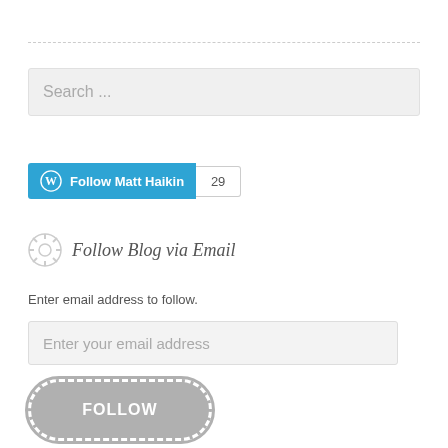[Figure (screenshot): Search input box with placeholder text 'Search ...']
[Figure (screenshot): WordPress Follow Matt Haikin button with follower count badge showing 29]
Follow Blog via Email
Enter email address to follow.
[Figure (screenshot): Email input field with placeholder 'Enter your email address']
[Figure (screenshot): FOLLOW submit button (rounded, grey)]
Join 2,077 other followers